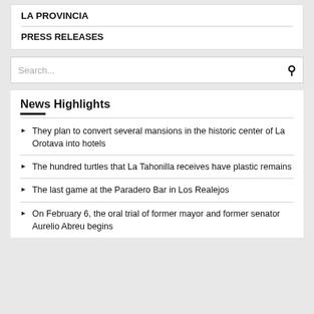LA PROVINCIA
PRESS RELEASES
Search...
News Highlights
They plan to convert several mansions in the historic center of La Orotava into hotels
The hundred turtles that La Tahonilla receives have plastic remains
The last game at the Paradero Bar in Los Realejos
On February 6, the oral trial of former mayor and former senator Aurelio Abreu begins